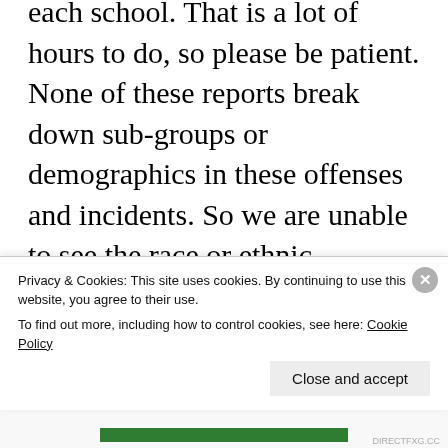each school.  That is a lot of hours to do, so please be patient.  None of these reports break down sub-groups or demographics in these offenses and incidents.  So we are unable to see the race or ethnic breakdowns for these or if the students were special education or English Language learners.  The first numbers are for the 2015-2016 year followed by numbers from the 2014-2015
Privacy & Cookies: This site uses cookies. By continuing to use this website, you agree to their use.
To find out more, including how to control cookies, see here: Cookie Policy
Close and accept